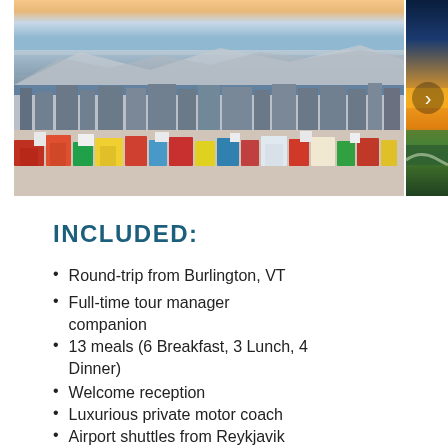[Figure (photo): Aerial view of Reykjavik city with colorful rooftops, waterfront, and mountains in background under twilight sky. A second partially visible landscape photo is shown to the right with a navigation arrow.]
INCLUDED:
Round-trip from Burlington, VT
Full-time tour manager companion
13 meals (6 Breakfast, 3 Lunch, 4 Dinner)
Welcome reception
Luxurious private motor coach
Airport shuttles from Reykjavik